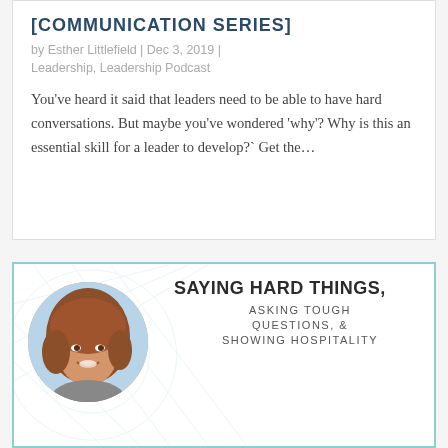[COMMUNICATION SERIES]
by Esther Littlefield | Dec 3, 2019 | Leadership, Leadership Podcast
You’ve heard it said that leaders need to be able to have hard conversations. But maybe you’ve wondered ‘why’? Why is this an essential skill for a leader to develop?` Get the…
[Figure (photo): Circular portrait photo of a woman with reddish-brown hair, smiling, against a light outdoor background. Appears on the bottom card alongside text about the podcast topic.]
SAYING HARD THINGS, ASKING TOUGH QUESTIONS, & SHOWING HOSPITALITY